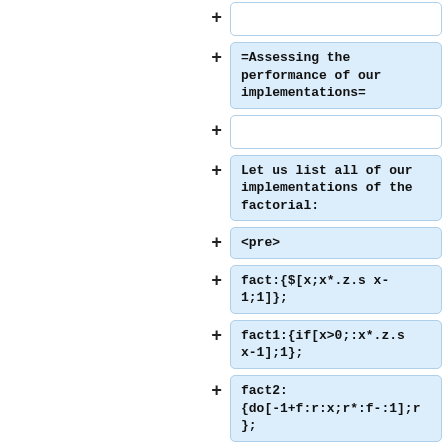+ [empty box]
+ =Assessing the performance of our implementations=
+ [empty box]
+ Let us list all of our implementations of the factorial:
+ <pre>
+ fact:{$[x;x*.z.s x-1;1]};
+ fact1:{if[x>0;:x*.z.s x-1];1};
+ fact2:{do[-1+f:r:x;r*:f-:1];r};